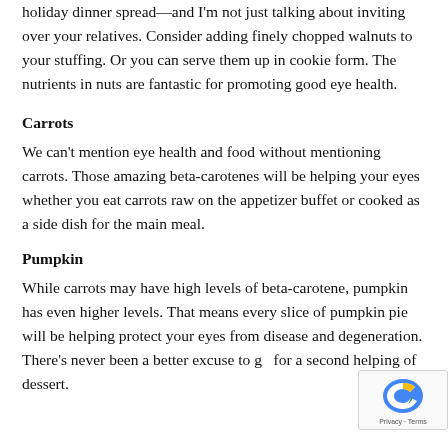There are plenty of opportunities to add nuts to your holiday dinner spread—and I'm not just talking about inviting over your relatives. Consider adding finely chopped walnuts to your stuffing. Or you can serve them up in cookie form. The nutrients in nuts are fantastic for promoting good eye health.
Carrots
We can't mention eye health and food without mentioning carrots. Those amazing beta-carotenes will be helping your eyes whether you eat carrots raw on the appetizer buffet or cooked as a side dish for the main meal.
Pumpkin
While carrots may have high levels of beta-carotene, pumpkin has even higher levels. That means every slice of pumpkin pie will be helping protect your eyes from disease and degeneration. There's never been a better excuse to go for a second helping of dessert.